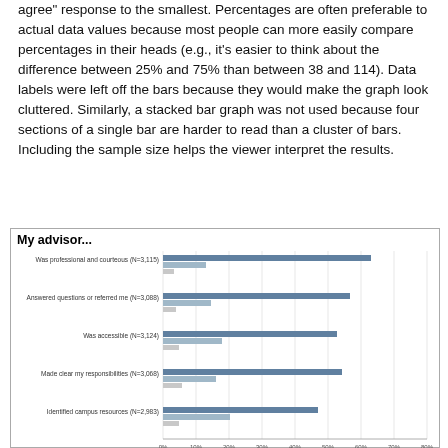agree” response to the smallest. Percentages are often preferable to actual data values because most people can more easily compare percentages in their heads (e.g., it’s easier to think about the difference between 25% and 75% than between 38 and 114). Data labels were left off the bars because they would make the graph look cluttered. Similarly, a stacked bar graph was not used because four sections of a single bar are harder to read than a cluster of bars. Including the sample size helps the viewer interpret the results.
[Figure (bar-chart): My advisor...]